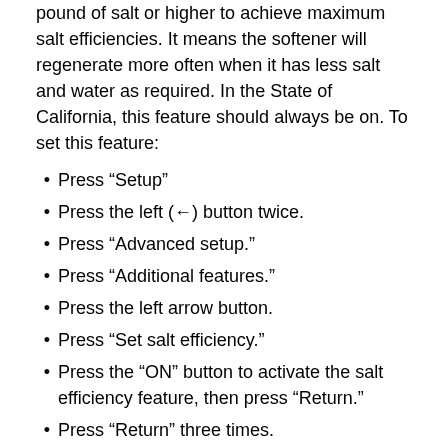pound of salt or higher to achieve maximum salt efficiencies. It means the softener will regenerate more often when it has less salt and water as required. In the State of California, this feature should always be on. To set this feature:
Press “Setup”
Press the left (←) button twice.
Press “Advanced setup.”
Press “Additional features.”
Press the left arrow button.
Press “Set salt efficiency.”
Press the “ON” button to activate the salt efficiency feature, then press “Return.”
Press “Return” three times.